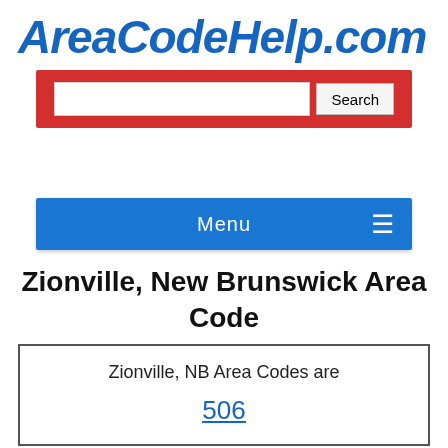AreaCodeHelp.com
[Figure (screenshot): Red search bar with text input field and Search button]
[Figure (screenshot): Blue navigation menu bar with Menu label and hamburger icon]
Zionville, New Brunswick Area Code
Zionville, NB Area Codes are
506